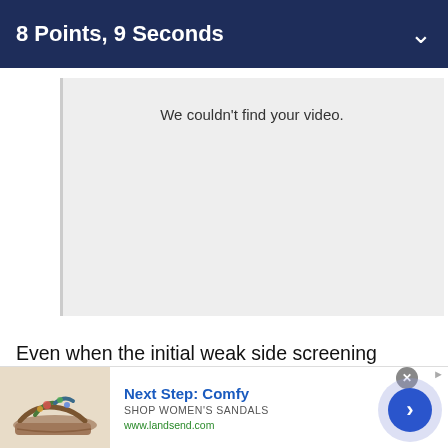8 Points, 9 Seconds
[Figure (screenshot): Video placeholder area with light gray background and text 'We couldn't find your video.']
Even when the initial weak side screening doesn't result in a shot, the offense keeps flowing until the Celtics unearth their desired look.
[Figure (illustration): Advertisement banner: Next Step: Comfy — SHOP WOMEN'S SANDALS — www.landsend.com, with sandal image and navigation arrow button]